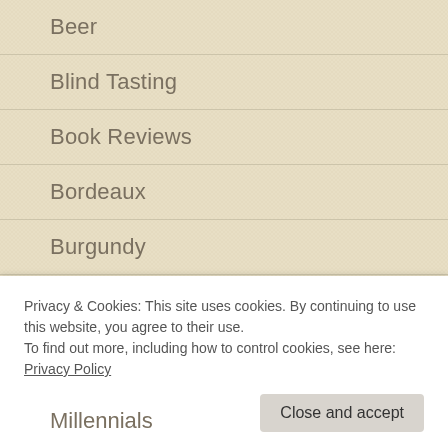Beer
Blind Tasting
Book Reviews
Bordeaux
Burgundy
Champagne
Climate Change
Event reviews
Privacy & Cookies: This site uses cookies. By continuing to use this website, you agree to their use.
To find out more, including how to control cookies, see here: Privacy Policy
Millennials